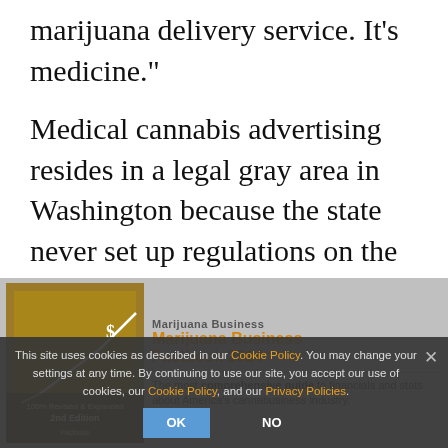marijuana delivery service. It’s medicine.”
Medical cannabis advertising resides in a legal gray area in Washington because the state never set up regulations on the industry, and even local law enforcement officials aren’t exactly sure what’s allowed and what’s not.
This site uses cookies as described in our Cookie Policy. You may change your settings at any time. By continuing to use our site, you accept our use of cookies, our Cookie Policy, and our Privacy Policies.
[Figure (other): Advertisement for Marijuana Business Factbook 2014, 2nd Edition - most comprehensive guide to financials and stats about America's cannabusiness industry.]